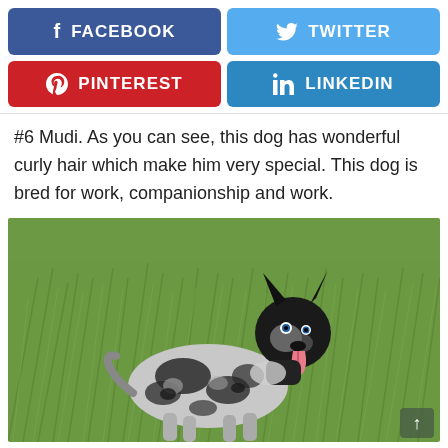[Figure (infographic): Social media share buttons: Facebook (blue), Twitter (light blue), Pinterest (red), LinkedIn (blue)]
#6 Mudi. As you can see, this dog has wonderful curly hair which make him very special. This dog is bred for work, companionship and work.
[Figure (photo): A Mudi dog with black and white curly/wavy fur standing in a green grassy field, facing right with tongue out.]